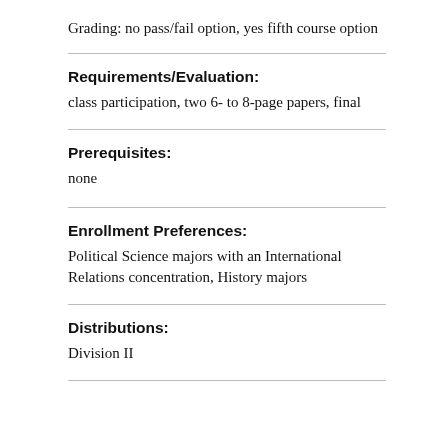Grading: no pass/fail option, yes fifth course option
Requirements/Evaluation:
class participation, two 6- to 8-page papers, final
Prerequisites:
none
Enrollment Preferences:
Political Science majors with an International Relations concentration, History majors
Distributions:
Division II